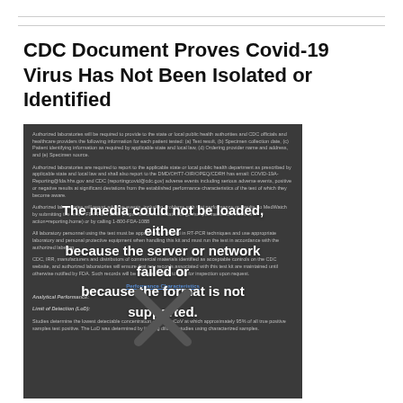CDC Document Proves Covid-19 Virus Has Not Been Isolated or Identified
[Figure (screenshot): Embedded video player showing a CDC document screenshot with dark overlay. The video failed to load with the message: 'The media could not be loaded, either because the server or network failed or because the format is not supported.' An X icon is displayed indicating broken video. Underlying document text visible in background discusses authorized laboratories, adverse event reporting, RT-PCR techniques, and Performance Characteristics including Analytical Performance and Limit of Detection (LoD).]